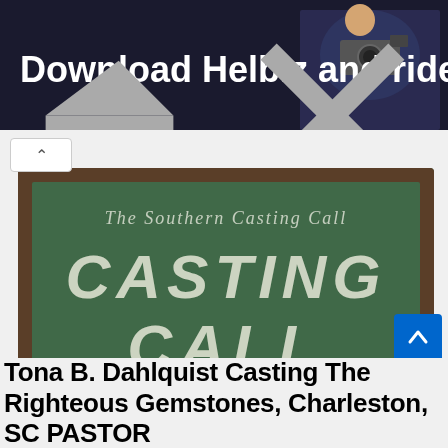[Figure (photo): Advertisement banner showing a person with a camera and text 'Download Helbiz and ride' on a dark background]
[Figure (photo): Image of a green chalkboard with 'The Southern Casting Call' written at top and 'CASTING CALL' in large chalk letters below, with a small bird/check mark logo in bottom right]
Tona B. Dahlquist Casting The Righteous Gemstones, Charleston, SC PASTOR